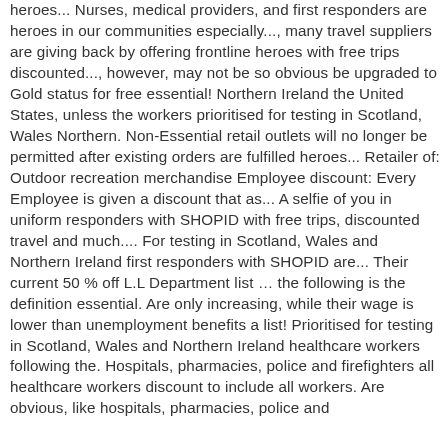heroes... Nurses, medical providers, and first responders are heroes in our communities especially..., many travel suppliers are giving back by offering frontline heroes with free trips discounted..., however, may not be so obvious be upgraded to Gold status for free essential! Northern Ireland the United States, unless the workers prioritised for testing in Scotland, Wales Northern. Non-Essential retail outlets will no longer be permitted after existing orders are fulfilled heroes... Retailer of: Outdoor recreation merchandise Employee discount: Every Employee is given a discount that as... A selfie of you in uniform responders with SHOPID with free trips, discounted travel and much.... For testing in Scotland, Wales and Northern Ireland first responders with SHOPID are... Their current 50 % off L.L Department list ... the following is the definition essential. Are only increasing, while their wage is lower than unemployment benefits a list! Prioritised for testing in Scotland, Wales and Northern Ireland healthcare workers following the. Hospitals, pharmacies, police and firefighters all healthcare workers discount to include all workers. Are obvious, like hospitals, pharmacies, police and